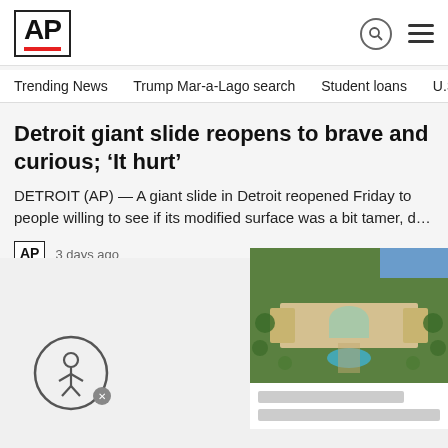AP
Trending News  Trump Mar-a-Lago search  Student loans  U.S
Detroit giant slide reopens to brave and curious; ‘It hurt’
DETROIT (AP) — A giant slide in Detroit reopened Friday to people willing to see if its modified surface was a bit tamer, d…
3 days ago
[Figure (photo): Aerial photo of a large estate property (Mar-a-Lago) with buildings, arched architecture, pool, and surrounding trees/landscape]
[Figure (other): Accessibility button icon (person in circle) with close badge]